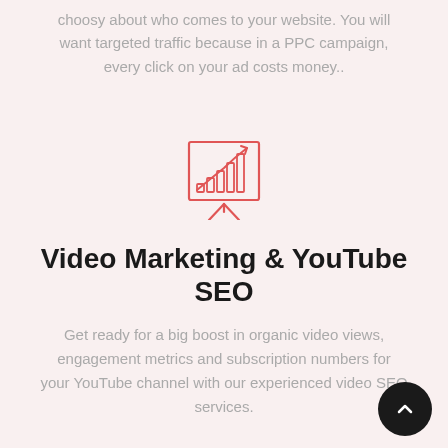choosy about who comes to your website. You will want targeted traffic because in a PPC campaign, every click on your ad costs money..
[Figure (illustration): A red line-art icon of a presentation board/easel showing a bar chart with an upward-trending arrow curve]
Video Marketing & YouTube SEO
Get ready for a big boost in organic video views, engagement metrics and subscription numbers for your YouTube channel with our experienced video SEO services.